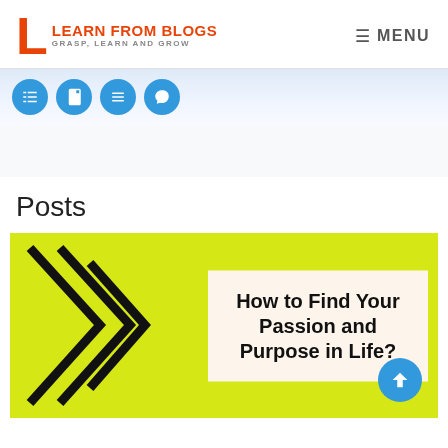LEARN FROM BLOGS — GRASP, LEARN AND GROW | MENU
[Figure (screenshot): Navigation icon bar with four blue circular social/menu icons]
Posts
[Figure (illustration): Blog article thumbnail with yellow-green background, black chevron arrows on left, and a text box reading 'How to Find Your Passion and Purpose in Life?']